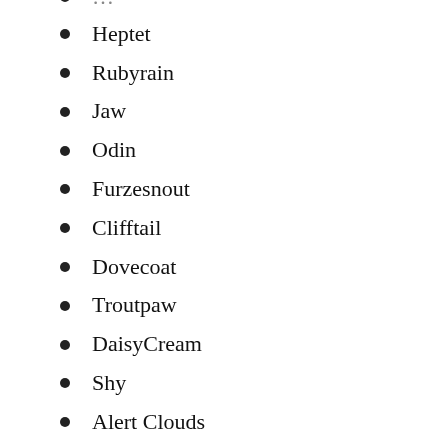Heptet
Rubyrain
Jaw
Odin
Furzesnout
Clifftail
Dovecoat
Troutpaw
DaisyCream
Shy
Alert Clouds
May Tulip
Strawberry
OrangePearl